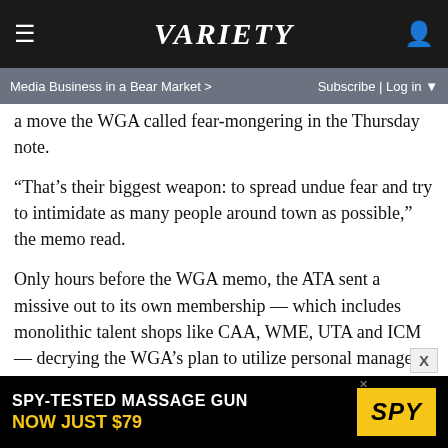Variety
Media Business in a Bear Market > Subscribe | Log in
a move the WGA called fear-mongering in the Thursday note.
“That’s their biggest weapon: to spread undue fear and try to intimidate as many people around town as possible,” the memo read.
Only hours before the WGA memo, the ATA sent a missive out to its own membership — which includes monolithic talent shops like CAA, WME, UTA and ICM — decrying the WGA’s plan to utilize personal managers and lawyers to procure new work while they battle it out with agents. The call to terminate agents came from the WGA on April 12, when the majors refused to sign a code of conduct that included the packaging fee issue.
[Figure (screenshot): Advertisement banner: SPY-TESTED MASSAGE GUN NOW JUST $79 with SPY logo in yellow]